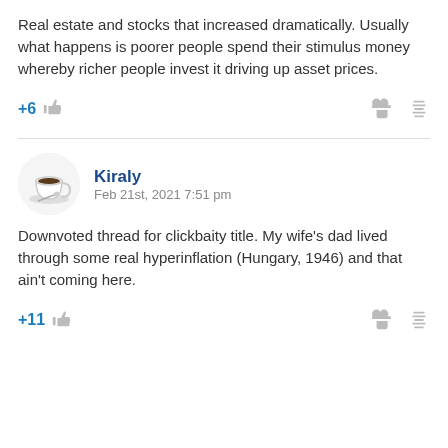Real estate and stocks that increased dramatically. Usually what happens is poorer people spend their stimulus money whereby richer people invest it driving up asset prices.
+6
Kiraly
Feb 21st, 2021 7:51 pm
Downvoted thread for clickbaity title. My wife's dad lived through some real hyperinflation (Hungary, 1946) and that ain't coming here.
+11